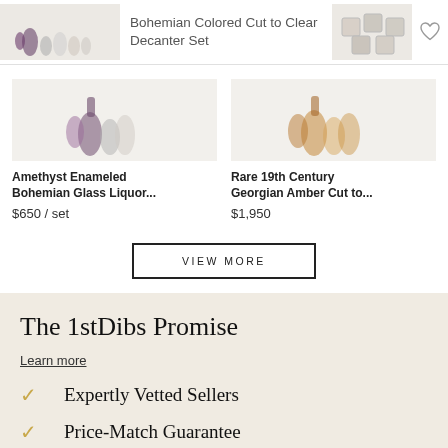Bohemian Colored Cut to Clear Decanter Set
Amethyst Enameled Bohemian Glass Liquor... $650 / set
Rare 19th Century Georgian Amber Cut to... $1,950
VIEW MORE
The 1stDibs Promise
Learn more
Expertly Vetted Sellers
Price-Match Guarantee
Buyer Protection